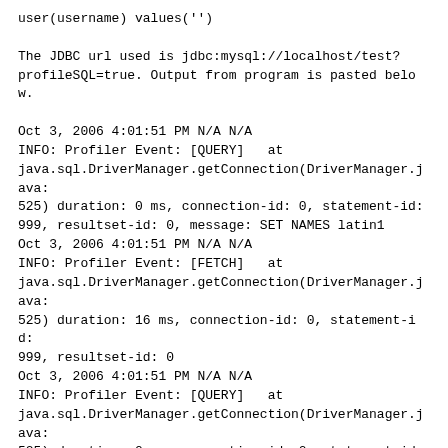user(username) values('')
The JDBC url used is jdbc:mysql://localhost/test?profileSQL=true. Output from program is pasted below.
Oct 3, 2006 4:01:51 PM N/A N/A
INFO: Profiler Event: [QUERY]   at java.sql.DriverManager.getConnection(DriverManager.java:525) duration: 0 ms, connection-id: 0, statement-id: 999, resultset-id: 0, message: SET NAMES latin1
Oct 3, 2006 4:01:51 PM N/A N/A
INFO: Profiler Event: [FETCH]   at java.sql.DriverManager.getConnection(DriverManager.java:525) duration: 16 ms, connection-id: 0, statement-id: 999, resultset-id: 0
Oct 3, 2006 4:01:51 PM N/A N/A
INFO: Profiler Event: [QUERY]   at java.sql.DriverManager.getConnection(DriverManager.java:525) duration: 0 ms, connection-id: 0, statement-id: 999, resultset-id: 0, message: SET character_set_results = NULL
Oct 3, 2006 4:01:51 PM N/A N/A
INFO: Profiler Event: [FETCH]   at